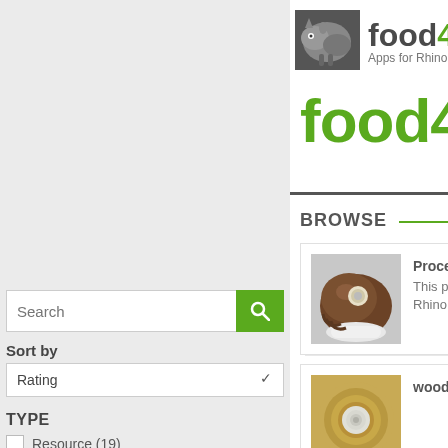[Figure (logo): food4Rhino logo with rhino illustration and text 'food4' and 'Apps for Rhino']
food4Rh
BROWSE
[Figure (photo): Brown spherical object product image (Procedural)]
Procedura
This packa
Rhino
[Figure (photo): Wood oak product image (partial)]
wood oak
Search
Sort by
Rating
TYPE
Resource (19)
App (0)
Services (0)